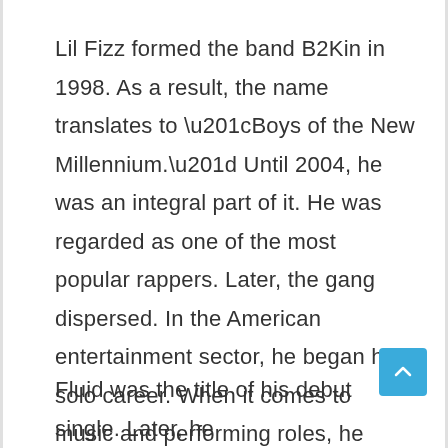Lil Fizz formed the band B2Kin in 1998. As a result, the name translates to “Boys of the New Millennium.” Until 2004, he was an integral part of it. He was regarded as one of the most popular rappers. Later, the gang dispersed. In the American entertainment sector, he began his solo career. When it comes to music and performing roles, he never compromises. Furthermore, he was always striving to be the greatest. Thus, he has been receiving a lot of appreciation for it
Fluid was the title of his debut single. Later, he